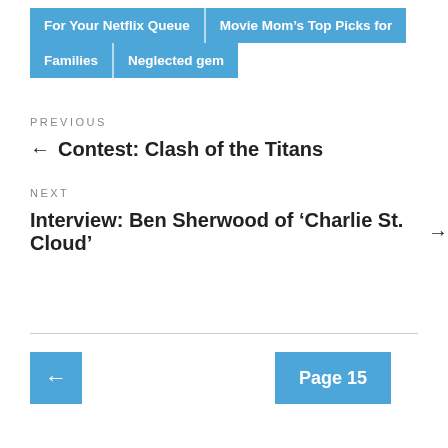For Your Netflix Queue | Movie Mom's Top Picks for Families | Neglected gem
PREVIOUS
← Contest: Clash of the Titans
NEXT
Interview: Ben Sherwood of 'Charlie St. Cloud' →
← Page 15